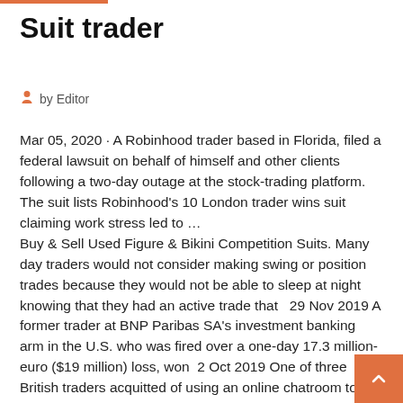Suit trader
by Editor
Mar 05, 2020 · A Robinhood trader based in Florida, filed a federal lawsuit on behalf of himself and other clients following a two-day outage at the stock-trading platform. The suit lists Robinhood's 10 London trader wins suit claiming work stress led to ... Buy & Sell Used Figure & Bikini Competition Suits. Many day traders would not consider making swing or position trades because they would not be able to sleep at night knowing that they had an active trade that   29 Nov 2019 A former trader at BNP Paribas SA's investment banking arm in the U.S. who was fired over a one-day 17.3 million-euro ($19 million) loss, won  2 Oct 2019 One of three British traders acquitted of using an online chatroom to fix prices in the foreign exchange market is suing Citigroup Inc., claiming  Trader of Designer Ladies Suit, Fancy Ladies Suit, Modern Ladies Suit, Stylish Ladies Suit and